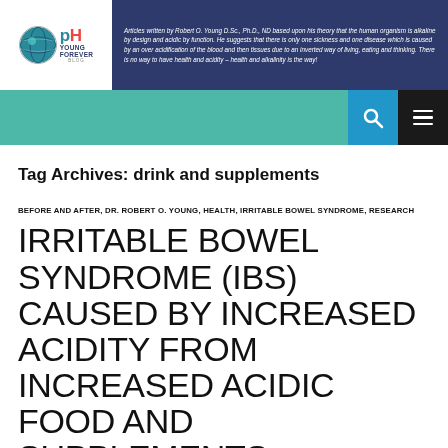[Figure (screenshot): pH Young Forever blog logo with globe icon]
Articles written by Robert O. Young D.Sc., Ph.D., ND based upon his theory that the human organism is alkaline by design and acidic by function. He suggests that there is only one sickness and one disease which is caused by an over acidification of the blood and then tissues due to an inverted way of living, eating and thinking. There is no way to have health and acidity – health and alkalinity is the way!
Tag Archives: drink and supplements
BEFORE AND AFTER, DR. ROBERT O. YOUNG, HEALTH, IRRITABLE BOWEL SYNDROME, RESEARCH
IRRITABLE BOWEL SYNDROME (IBS) CAUSED BY INCREASED ACIDITY FROM INCREASED ACIDIC FOOD AND SUPPLEMENTS